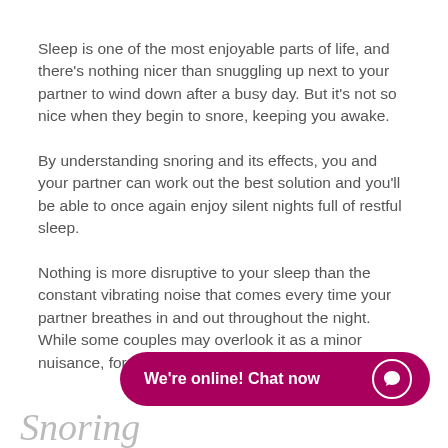Sleep is one of the most enjoyable parts of life, and there's nothing nicer than snuggling up next to your partner to wind down after a busy day. But it's not so nice when they begin to snore, keeping you awake.
By understanding snoring and its effects, you and your partner can work out the best solution and you'll be able to once again enjoy silent nights full of restful sleep.
Nothing is more disruptive to your sleep than the constant vibrating noise that comes every time your partner breathes in and out throughout the night. While some couples may overlook it as a minor nuisance, for most of us, it's not that easy.
[Figure (other): Live chat widget button with magenta/pink rounded rectangle background, white bold text 'We're online! Chat now' and a circular chat icon on the right]